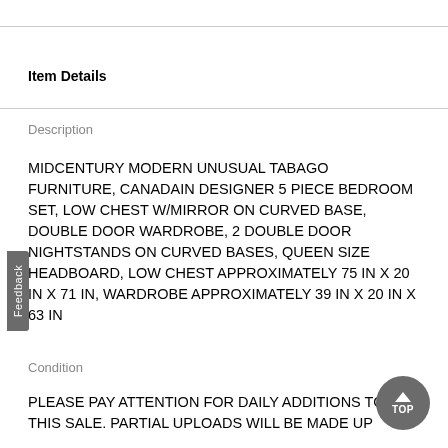Item Details
Description
MIDCENTURY MODERN UNUSUAL TABAGO FURNITURE, CANADAIN DESIGNER 5 PIECE BEDROOM SET, LOW CHEST W/MIRROR ON CURVED BASE, DOUBLE DOOR WARDROBE, 2 DOUBLE DOOR NIGHTSTANDS ON CURVED BASES, QUEEN SIZE HEADBOARD, LOW CHEST APPROXIMATELY 75 IN X 20 IN X 71 IN, WARDROBE APPROXIMATELY 39 IN X 20 IN X 63 IN
Condition
PLEASE PAY ATTENTION FOR DAILY ADDITIONS TO THIS SALE. PARTIAL UPLOADS WILL BE MADE UP